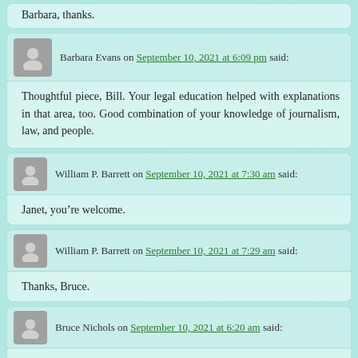Barbara, thanks.
Barbara Evans on September 10, 2021 at 6:09 pm said:
Thoughtful piece, Bill. Your legal education helped with explanations in that area, too. Good combination of your knowledge of journalism, law, and people.
William P. Barrett on September 10, 2021 at 7:30 am said:
Janet, you’re welcome.
William P. Barrett on September 10, 2021 at 7:29 am said:
Thanks, Bruce.
Bruce Nichols on September 10, 2021 at 6:20 am said:
Awful saga well told, Bill.
Janet Gorkin on September 10, 2021 at 5:55 am said: